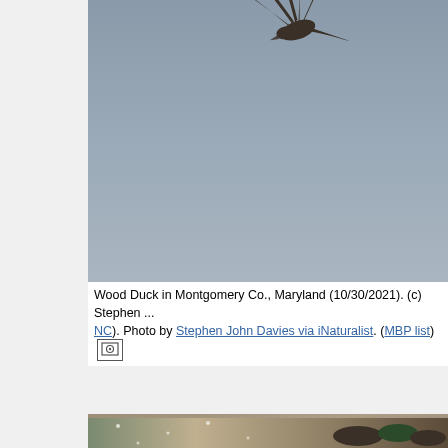[Figure (photo): A Wood Duck in flight photographed against a gray sky, viewed from below showing spread wings, partially cropped at top of page.]
Wood Duck in Montgomery Co., Maryland (10/30/2021). (c) Stephen ... NC). Photo by Stephen John Davies via iNaturalist. (MBP list)
[Figure (photo): A group of Wood Ducks huddled together in snowy/rainy conditions, with brownish blurred background. Multiple ducks visible including colorful males and brown females.]